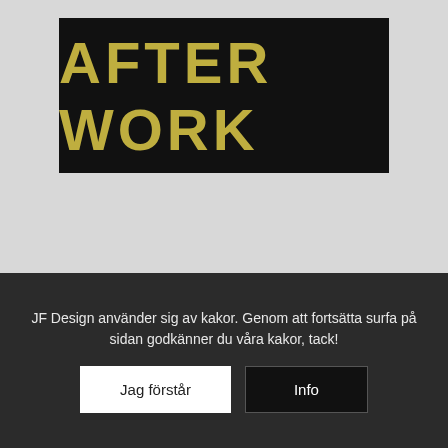[Figure (illustration): Black banner image with bold distressed yellow 'AFTER WORK' text on black background, with watermark overlay]
COPYRIGHT JF DESIGN
After Work – Text
80 kr
JF Design använder sig av kakor. Genom att fortsätta surfa på sidan godkänner du våra kakor, tack!
Jag förstår
Info